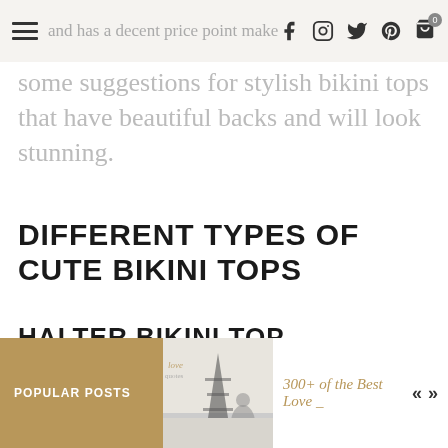and has a decent price point makes it all much more difficult. We
some of that pain away by offering some suggestions for stylish bikini tops that have beautiful backs and will look stunning.
DIFFERENT TYPES OF CUTE BIKINI TOPS
HALTER BIKINI TOP
Halter-style bikini tops are not only a standard, but they are one of the
POPULAR POSTS   300+ of the Best Love _